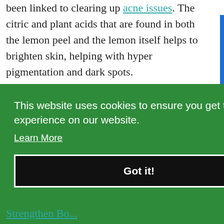been linked to clearing up acne issues. The citric and plant acids that are found in both the lemon peel and the lemon itself helps to brighten skin, helping with hyper pigmentation and dark spots.
It also helps to remove dead skin cells and aid in healthy cell growth. Putting a few drops of [obscured by cookie banner] ask, [obscured] ce [obscured] n
This website uses cookies to ensure you get the best experience on our website. Learn More
Got it!
Strengthen Bo...